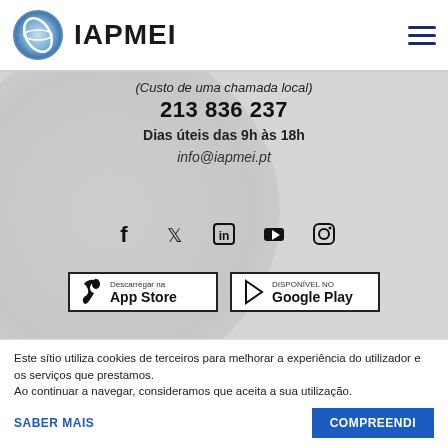[Figure (logo): IAPMEI logo with circular icon and bold text]
(Custo de uma chamada local)
213 836 237
Dias úteis das 9h às 18h
info@iapmei.pt
[Figure (infographic): Social media icons row: Facebook, Twitter, LinkedIn, YouTube, Instagram]
[Figure (infographic): App store download buttons: Descarregar na App Store and Disponível no Google Play]
[Figure (logo): República Portuguesa logo with Portuguese flag and bold blue text]
Este sítio utiliza cookies de terceiros para melhorar a experiência do utilizador e os serviços que prestamos. Ao continuar a navegar, consideramos que aceita a sua utilização.
SABER MAIS
COMPREENDI